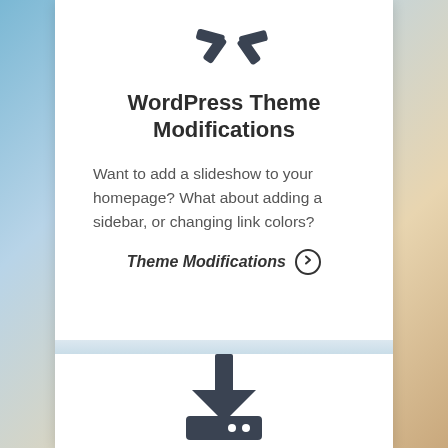[Figure (illustration): Code/theme icon: two diagonal arrows or angle brackets forming a coding symbol in dark slate color]
WordPress Theme Modifications
Want to add a slideshow to your homepage? What about adding a sidebar, or changing link colors?
Theme Modifications →
[Figure (illustration): Download icon: downward arrow above a tray/hard drive shape with two dots, in dark slate color]
Database and Website Backups